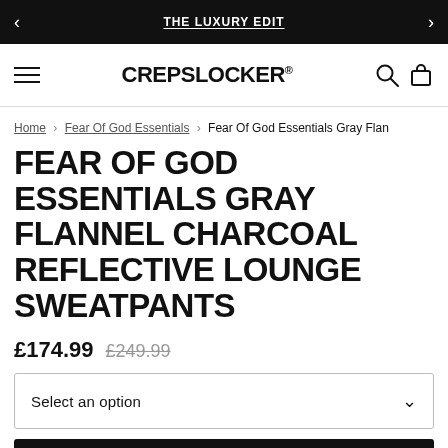THE LUXURY EDIT
CREPSLOCKER®
Home › Fear Of God Essentials › Fear Of God Essentials Gray Flan
FEAR OF GOD ESSENTIALS GRAY FLANNEL CHARCOAL REFLECTIVE LOUNGE SWEATPANTS
£174.99 £249.99
Select an option
ADD TO BASKET